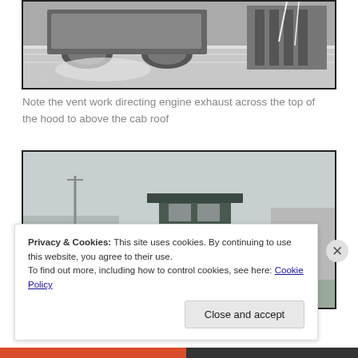[Figure (photo): Black and white close-up photo of a locomotive's undercarriage and side, showing wheel trucks and mechanical parts. Watermark 'SWRails.com' visible at bottom left.]
Note the vent work directing engine exhaust across the top of the hood to above the cab roof
[Figure (photo): Black and white photograph of a locomotive numbered 2401, showing the cab and hood from the side in a rail yard setting.]
Privacy & Cookies: This site uses cookies. By continuing to use this website, you agree to their use.
To find out more, including how to control cookies, see here: Cookie Policy
Close and accept